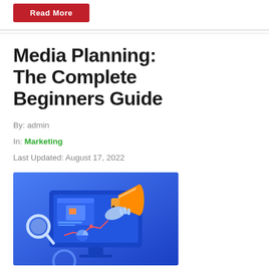[Figure (illustration): Red 'Read More' button at top of page]
Media Planning: The Complete Beginners Guide
By: admin
In: Marketing
Last Updated: August 17, 2022
[Figure (illustration): Hero illustration showing a computer monitor with a megaphone, analytics chart, pie chart, magnifying glass, and marketing-related icons on a blue gradient background]